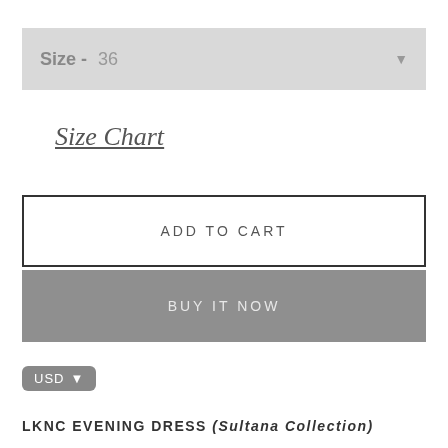Size - 36
Size Chart
ADD TO CART
BUY IT NOW
USD
LKNC EVENING DRESS (Sultana Collection)